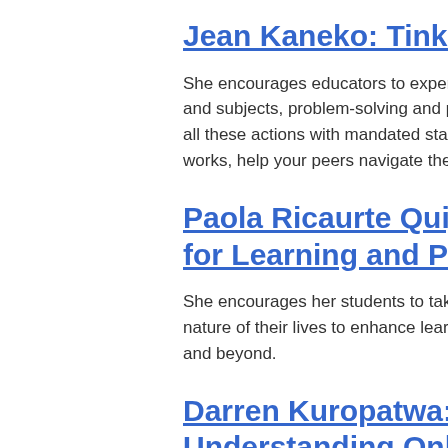Jean Kaneko: Tinkering to Learn (No…
She encourages educators to experiment with making conn… and subjects, problem-solving and peers, between multiple… all these actions with mandated standards – and when you… works, help your peers navigate the territory you've explor…
Paola Ricaurte Quijano: Using Globa… for Learning and Problem-Solving (C…
She encourages her students to take full advantage of tech… nature of their lives to enhance learning and solve proble… and beyond.
Darren Kuropatwa: Fostering Voice,… Understanding Online (September, …
By 2010, Kuropatwa's students are finding and sharing reso… hashtag. One night, the students started using the blog a…